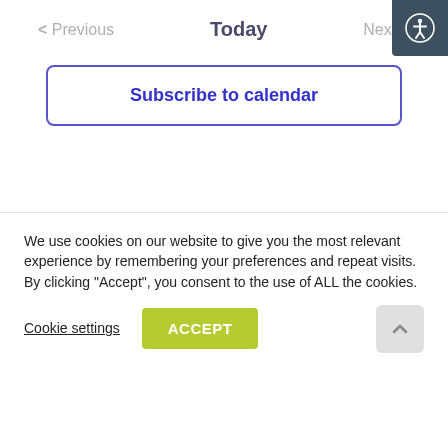< Previous   Today   Next >
Subscribe to calendar
We use cookies on our website to give you the most relevant experience by remembering your preferences and repeat visits. By clicking “Accept”, you consent to the use of ALL the cookies.
Cookie settings
ACCEPT